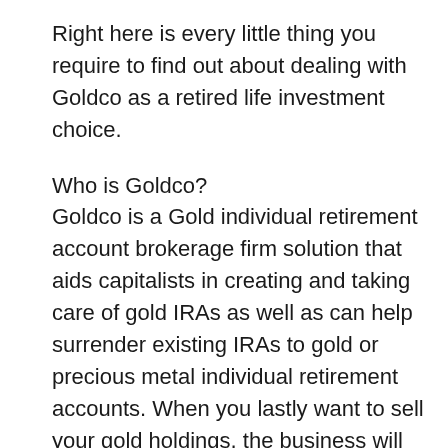Right here is every little thing you require to find out about dealing with Goldco as a retired life investment choice.
Who is Goldco?
Goldco is a Gold individual retirement account brokerage firm solution that aids capitalists in creating and taking care of gold IRAs as well as can help surrender existing IRAs to gold or precious metal individual retirement accounts. When you lastly want to sell your gold holdings, the business will aid you with this by purchasing your precious metals from you or selling them on your behalf in the steel market.
Based in Woodland Hills in The Golden State,